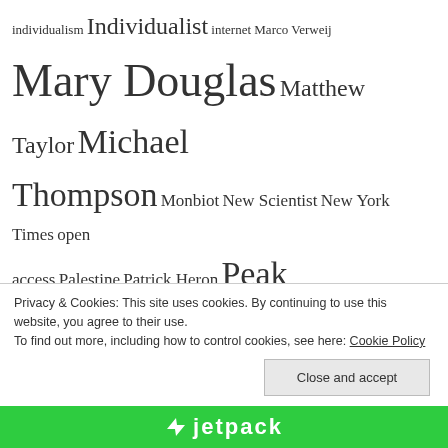[Figure (other): Tag cloud showing terms of various sizes including: individualism, Individualist, internet, Marco Verweij, Mary Douglas, Matthew Taylor, Michael Thompson, Monbiot, New Scientist, New York Times, open access, Palestine, Patrick Heron, Peak Oil, philosophy, Planning, politics, post-secular, postmodernism, postreligious, psychology, Purity and Danger, religion, resilience, resilience alliance, Ricoeur, risk, RSA, sci-fi, science, science fiction, social science, Social Sciences, sociology, technology...]
Privacy & Cookies: This site uses cookies. By continuing to use this website, you agree to their use. To find out more, including how to control cookies, see here: Cookie Policy
[Figure (logo): Jetpack logo with green background at bottom of page]